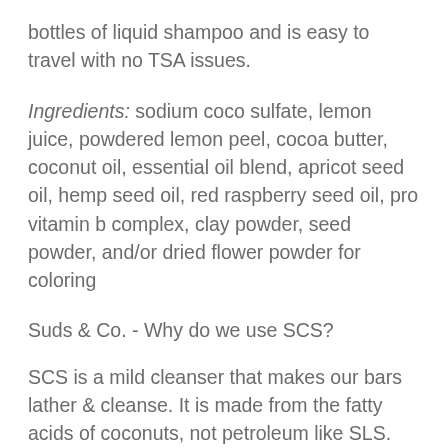bottles of liquid shampoo and is easy to travel with no TSA issues.
Ingredients: sodium coco sulfate, lemon juice, powdered lemon peel, cocoa butter, coconut oil, essential oil blend, apricot seed oil, hemp seed oil, red raspberry seed oil, pro vitamin b complex, clay powder, seed powder, and/or dried flower powder for coloring
Suds & Co. - Why do we use SCS?
SCS is a mild cleanser that makes our bars lather & cleanse. It is made from the fatty acids of coconuts, not petroleum like SLS. The molecules in SCS are also much larger and cannot penetrate through the scalp like SLS (which is what causes irritation). Without SCS, they would leave your hair feeling greasy and weighed down, or cause build-up in your hair & scalp. Bars that do not have SCS often need an apple cider vinegar